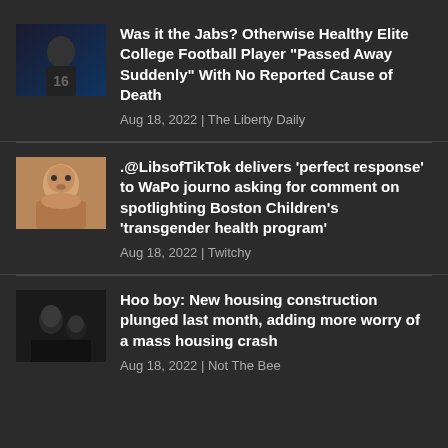Was it the Jabs? Otherwise Healthy Elite College Football Player “Passed Away Suddenly” With No Reported Cause of Death
.@LibsofTikTok delivers ‘perfect response’ to WaPo journo asking for comment on spotlighting Boston Children’s ‘transgender health program’
Hoo boy: New housing construction plunged last month, adding more worry of a mass housing crash